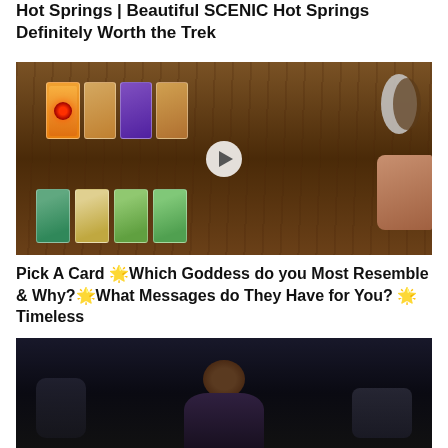Hot Springs | Beautiful SCENIC Hot Springs Definitely Worth the Trek
[Figure (photo): Video thumbnail showing tarot cards spread on a wooden table with a play button overlay, a moon sculpture, and a hand visible on the right side]
Pick A Card 🌟Which Goddess do you Most Resemble & Why?🌟What Messages do They Have for You? 🌟Timeless
[Figure (photo): Video thumbnail showing a person in a dark room, appears to be a reaction or commentary video]